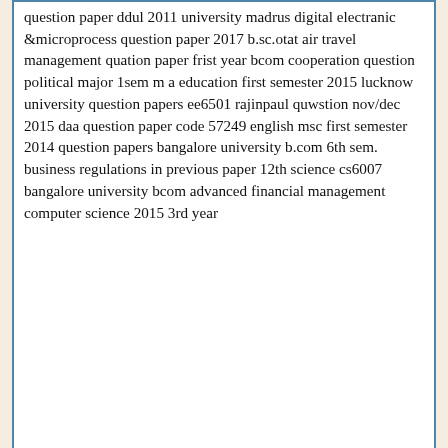question paper ddul 2011 university madras digital electranic &microprocess question paper 2017 b.sc.otat air travel management quation paper frist year bcom cooperation question political major 1sem m a education first semester 2015 lucknow university question papers ee6501 rajinpaul quwstion nov/dec 2015 daa question paper code 57249 english msc first semester 2014 question papers bangalore university b.com 6th sem. business regulations in previous paper 12th science cs6007 bangalore university bcom advanced financial management computer science 2015 3rd year
[Figure (other): Empty white box with blue border (advertisement placeholder)]
[Figure (other): CVS Pharmacy advertisement showing logo with checkmarks for In-store shopping, Drive-through, and Delivery services, with a navigation/directions icon]